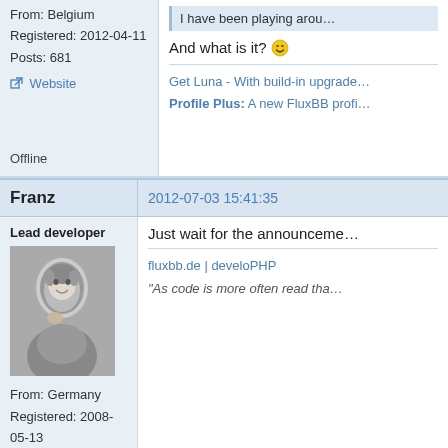From: Belgium
Registered: 2012-04-11
Posts: 681
Website
I have been playing arou…
And what is it? 🙂
Get Luna - With build-in upgrade… Profile Plus: A new FluxBB profi…
Offline
Franz
2012-07-03 15:41:35
Lead developer
From: Germany
Registered: 2008-05-13
Posts: 6,744
Website
Just wait for the announceme…
fluxbb.de | develoPHP
"As code is more often read tha…